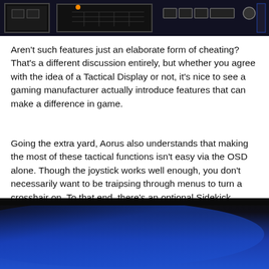[Figure (screenshot): Dark gaming monitor OSD interface showing screen boxes and keyboard/control icons on dark background]
Aren't such features just an elaborate form of cheating? That's a different discussion entirely, but whether you agree with the idea of a Tactical Display or not, it's nice to see a gaming manufacturer actually introduce features that can make a difference in game.
Going the extra yard, Aorus also understands that making the most of these tactical functions isn't easy via the OSD alone. Though the joystick works well enough, you don't necessarily want to be traipsing through menus to turn a crosshair on. To that end, there's an optional Sidekick software utility for Windows that replicates all of the OSD settings in an easy-to-use interface. The app does a feel a tad laggy at times, and is quite clearly still in its infancy, yet it's far easier to change multiple settings quickly via software than it is via the on-screen menus.
[Figure (photo): Dark background with deep blue gradient filling the bottom portion of the page, suggesting a gaming monitor or device surface]